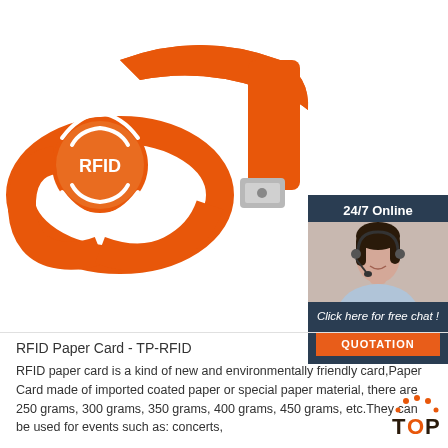[Figure (photo): Orange RFID silicone wristband with circular RFID logo and metal buckle clasp]
[Figure (infographic): 24/7 Online customer service chat widget with a woman wearing headset and buttons for free chat and quotation]
RFID Paper Card - TP-RFID
RFID paper card is a kind of new and environmentally friendly card,Paper Card made of imported coated paper or special paper material, there are 250 grams, 300 grams, 350 grams, 400 grams, 450 grams, etc.They can be used for events such as: concerts,